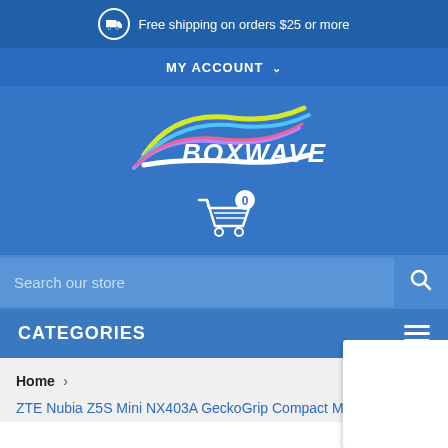Free shipping on orders $25 or more
MY ACCOUNT
[Figure (logo): BoxWave logo with colorful swoosh on blue background]
[Figure (illustration): Shopping cart icon with badge showing 0 items]
Search our store
CATEGORIES
Home
ZTE Nubia Z5S Mini NX403A GeckoGrip Compact Mount